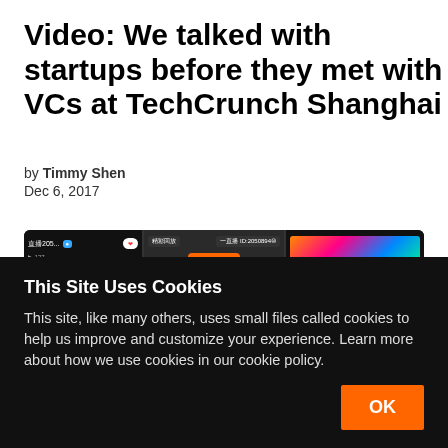Video: We talked with startups before they met with VCs at TechCrunch Shanghai
by Timmy Shen
Dec 6, 2017
[Figure (screenshot): Screenshot of a Chinese livestreaming app interface showing multiple panels with live broadcast content and Chinese UI elements]
This Site Uses Cookies
This site, like many others, uses small files called cookies to help us improve and customize your experience. Learn more about how we use cookies in our cookie policy.